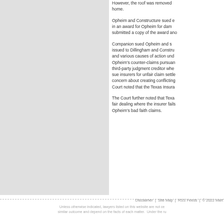[Figure (other): Grey rectangular panel on the left side of the page]
However, the roof was removed home.
Opheim and Constructure sued e in an award for Opheim for dam submitted a copy of the award ano
Companion sued Opheim and s issued to Dillingham and Constru and various causes of action und Opheim’s counter-claims pursuan third-party judgment creditor whe sue insurers for unfair claim settle concern about creating conflicting Court noted that the Texas Insura
The Court further noted that Texa fair dealing where the insurer fails Opheim’s bad faith claims.
Disclaimer | Site Map | RSS Feeds | © 2022 Mar
Unless otherwise indicated, lawyers listed on this website are not ce similar outcome and depend on the facts of each matter. Under the ru